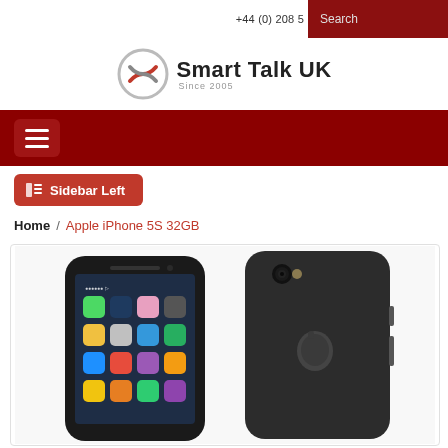+44 (0) 208 5...
[Figure (logo): Smart Talk UK logo with circular graphic and text 'Smart Talk UK Since 2005']
[Figure (screenshot): Navigation bar with hamburger menu button on dark red background]
Sidebar Left
Home / Apple iPhone 5S 32GB
[Figure (photo): Product photo of Apple iPhone 5S 32GB showing front and back views in Space Grey color]